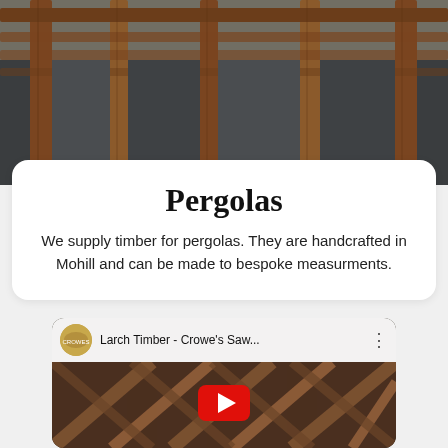[Figure (photo): A wooden pergola structure with dark grey privacy screen panels and warm brown timber beams, viewed from below at an angle]
Pergolas
We supply timber for pergolas. They are handcrafted in Mohill and can be made to bespoke measurments.
[Figure (screenshot): YouTube video embed showing 'Larch Timber - Crowe's Saw...' with a channel avatar, title bar, three-dot menu, and pergola timber ceiling image with a YouTube play button overlay]